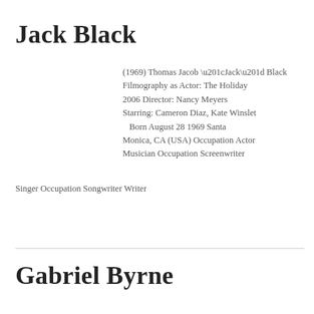Jack Black
(1969) Thomas Jacob “Jack” Black Filmography as Actor: The Holiday 2006 Director: Nancy Meyers Starring: Cameron Diaz, Kate Winslet Born August 28 1969 Santa Monica, CA (USA) Occupation Actor Musician Occupation Screenwriter Singer Occupation Songwriter Writer
Read more →
Gabriel Byrne